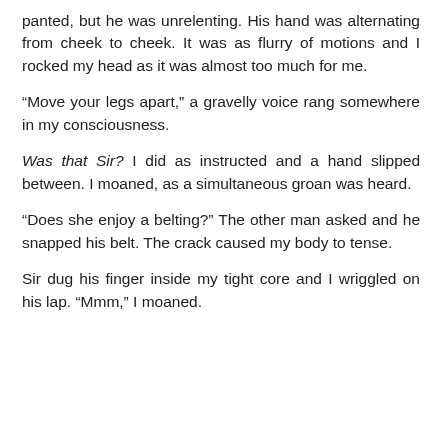panted, but he was unrelenting. His hand was alternating from cheek to cheek. It was as flurry of motions and I rocked my head as it was almost too much for me.
“Move your legs apart,” a gravelly voice rang somewhere in my consciousness.
Was that Sir? I did as instructed and a hand slipped between. I moaned, as a simultaneous groan was heard.
“Does she enjoy a belting?” The other man asked and he snapped his belt. The crack caused my body to tense.
Sir dug his finger inside my tight core and I wriggled on his lap. “Mmm,” I moaned.